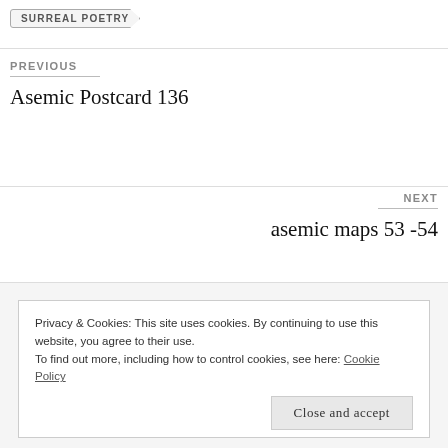SURREAL POETRY
PREVIOUS
Asemic Postcard 136
NEXT
asemic maps 53 -54
Privacy & Cookies: This site uses cookies. By continuing to use this website, you agree to their use.
To find out more, including how to control cookies, see here: Cookie Policy
Close and accept